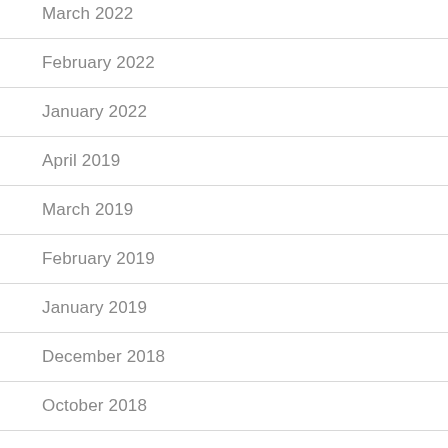March 2022
February 2022
January 2022
April 2019
March 2019
February 2019
January 2019
December 2018
October 2018
September 2018